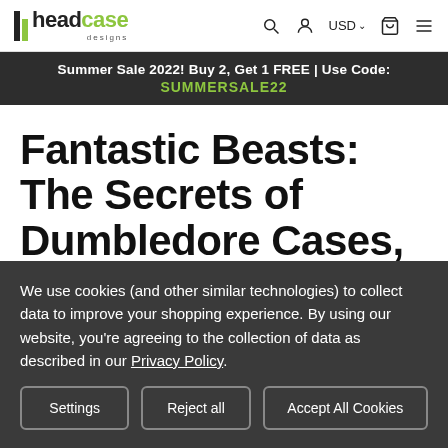Head Case Designs — USD — navigation icons
Summer Sale 2022! Buy 2, Get 1 FREE | Use Code: SUMMERSALE22
Fantastic Beasts: The Secrets of Dumbledore Cases, Skins, &
We use cookies (and other similar technologies) to collect data to improve your shopping experience. By using our website, you're agreeing to the collection of data as described in our Privacy Policy.
Settings | Reject all | Accept All Cookies